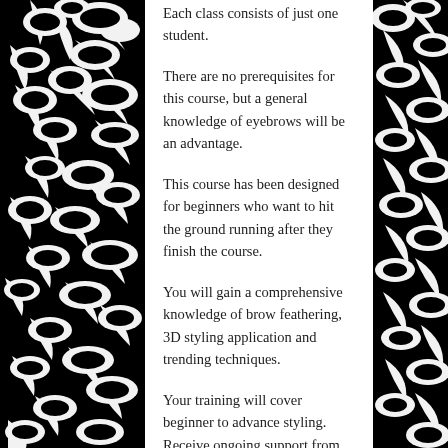Each class consists of just one student.
There are no prerequisites for this course, but a general knowledge of eyebrows will be an advantage.
This course has been designed for beginners who want to hit the ground running after they finish the course.
You will gain a comprehensive knowledge of brow feathering, 3D styling application and trending techniques.
Your training will cover beginner to advance styling. Receive ongoing support from One on One Nail Tuition after you finish your course.
There is currently no government